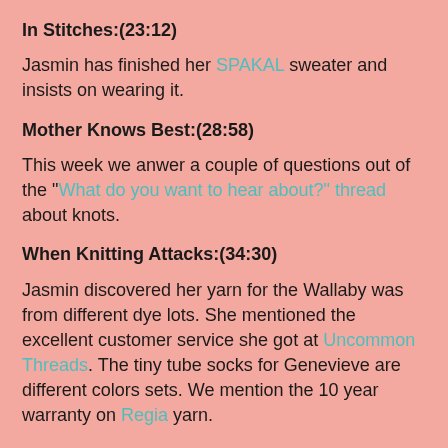In Stitches:(23:12)
Jasmin has finished her SPAKAL sweater and insists on wearing it.
Mother Knows Best:(28:58)
This week we anwer a couple of questions out of the "What do you want to hear about?" thread about knots.
When Knitting Attacks:(34:30)
Jasmin discovered her yarn for the Wallaby was from different dye lots. She mentioned the excellent customer service she got at Uncommon Threads. The tiny tube socks for Genevieve are different colors sets. We mention the 10 year warranty on Regia yarn.
Review:(40:30)
This week we review: